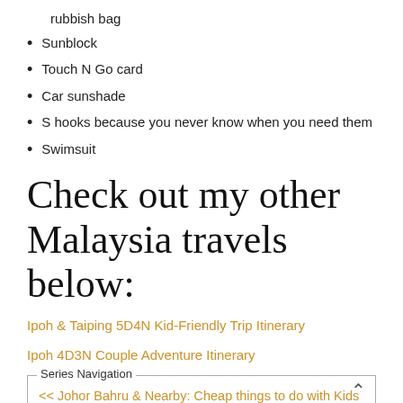rubbish bag
Sunblock
Touch N Go card
Car sunshade
S hooks because you never know when you need them
Swimsuit
Check out my other Malaysia travels below:
Ipoh & Taiping 5D4N Kid-Friendly Trip Itinerary
Ipoh 4D3N Couple Adventure Itinerary
Series Navigation
<< Johor Bahru & Nearby: Cheap things to do with Kids Part 1 – Forest City, Kukup, Pontian.
Johor Bahru & Nearby: Cheap things to do with Kids